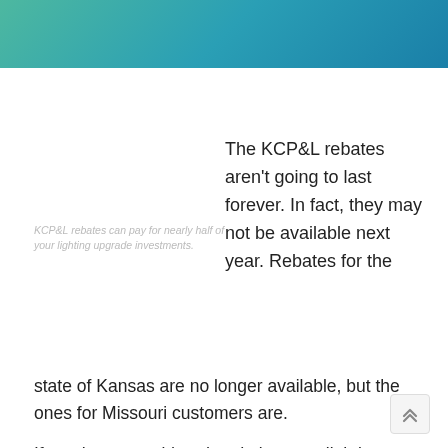[Figure (other): Teal/green gradient header banner]
KCP&L rebates can pay for nearly half of your lighting upgrade investments.
The KCP&L rebates aren't going to last forever. In fact, they may not be available next year. Rebates for the state of Kansas are no longer available, but the ones for Missouri customers are.
If you have considered updating your lighting system in the past, now is the time to do it. And if the rebates are not enough incentive, commonly used T12 lights have been phased out by the Department of Ene and are no longer available for manufacture or im.